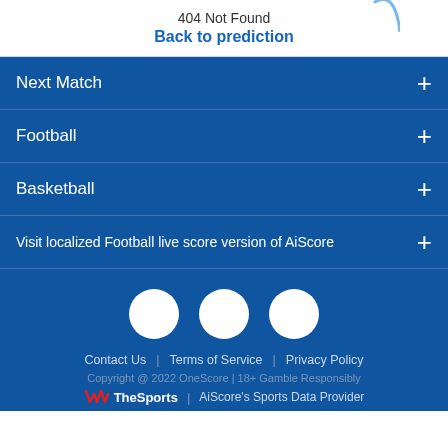[Figure (illustration): Partial curved arc graphic at top right, light blue color, partially cropped]
404 Not Found
Back to prediction
Next Match +
Football +
Basketball +
Visit localized Football live score version of AiScore +
[Figure (illustration): Three white circles representing social media icons]
Contact Us | Terms of Service | Privacy Policy
Copyright @ 2022 OneScore | 18+ Gamble Responsibly
TheSports | AiScore's Sports Data Provider